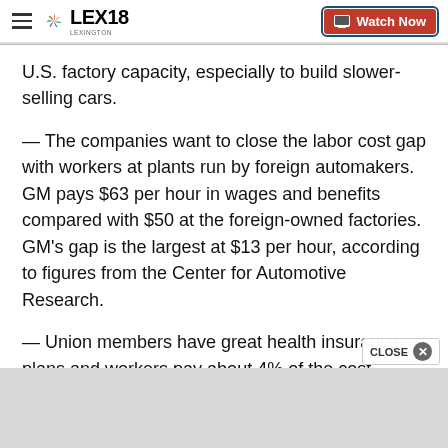LEX18 | Watch Now
U.S. factory capacity, especially to build slower-selling cars.
— The companies want to close the labor cost gap with workers at plants run by foreign automakers. GM pays $63 per hour in wages and benefits compared with $50 at the foreign-owned factories. GM's gap is the largest at $13 per hour, according to figures from the Center for Automotive Research.
— Union members have great health insurance plans and workers pay about 4% of the cost. Employees